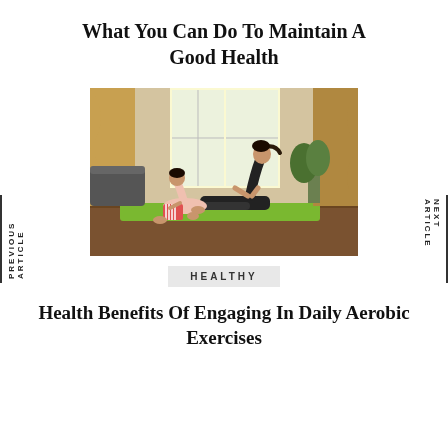What You Can Do To Maintain A Good Health
[Figure (photo): A woman and a child doing yoga poses on a green mat in a bright living room. The woman is in a cobra-like pose looking upward, and the child is in front of her doing a similar pose.]
PREVIOUS ARTICLE
NEXT ARTICLE
HEALTHY
Health Benefits Of Engaging In Daily Aerobic Exercises